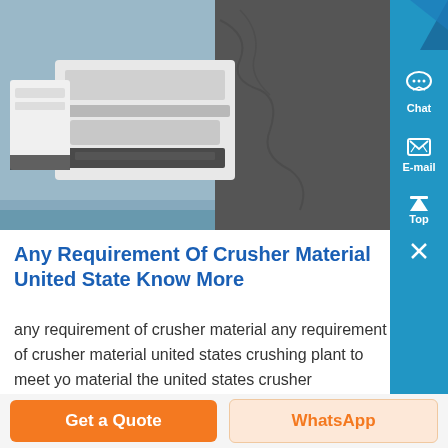[Figure (photo): Close-up photo of industrial crusher machinery showing metal components and a large cylindrical rock surface]
Any Requirement Of Crusher Material United State Know More
any requirement of crusher material any requirement of crusher material united states crushing plant to meet yo material the united states crusher requirement at machinerytrader anyget price design and analysis of a horizontal shaft 2 chapter 1 introduction a crusher is a